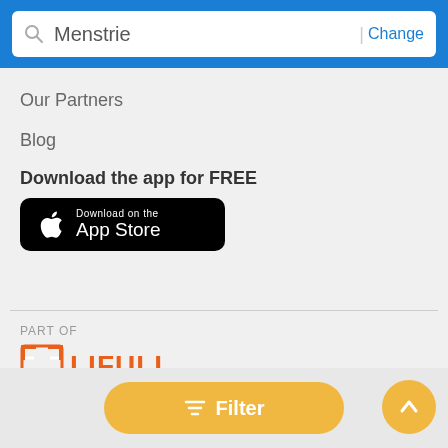Menstrie | Change
Our Partners
Blog
Download the app for FREE
[Figure (logo): Download on the App Store button - black background with Apple logo]
[Figure (logo): LIFULL CONNECT logo with orange bracket icon and LIFULL text in orange, LIFULL CONNECT in black below]
[Figure (other): Filter button with golden/yellow background and filter icon, plus a circular up-arrow button in gold]